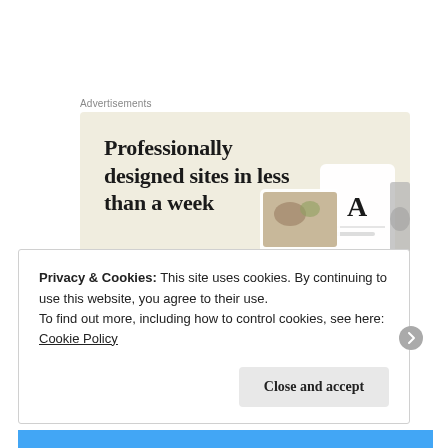Advertisements
[Figure (illustration): Advertisement banner with beige/cream background showing the headline 'Professionally designed sites in less than a week', a green 'Explore options' button, and mock website/device screenshots on the right side.]
Privacy & Cookies: This site uses cookies. By continuing to use this website, you agree to their use.
To find out more, including how to control cookies, see here: Cookie Policy
Close and accept